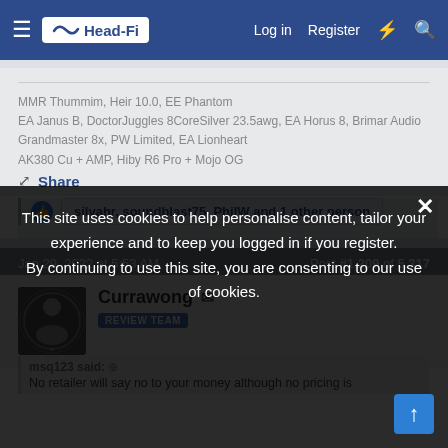Head-Fi | Log in | Register
MMR Thummim, Heir 10.0, EE Phantom
EA Janus B, DoctorJuggles 8CoreSilver 23.5awg, EA Horus 8, Brimar Audio Grandmaster 8x, PW Limited, EA Lionheart
AK380 Cu + AMP, Hiby R6 Pro + Mojo OG
Share
silvahr, soundblast75, PhilW and 1 other person
Jan 29, 2022 at 5:53 AM    Post #1,209 of 5,317
Currawong
REVIEW TEAM
This site uses cookies to help personalise content, tailor your experience and to keep you logged in if you register. By continuing to use this site, you are consenting to our use of cookies.
msq123 said:
No retailer will say no to your money although no pricing is